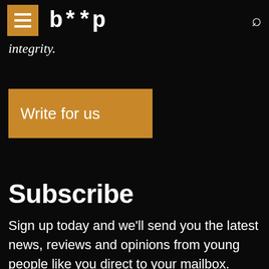b**p
integrity.
Write for us
Subscribe
Sign up today and we'll send you the latest news, reviews and opinions from young people like you direct to your mailbox.